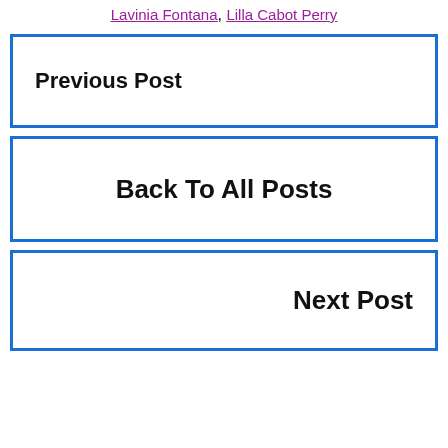Lavinia Fontana, Lilla Cabot Perry
Previous Post
Back To All Posts
Next Post